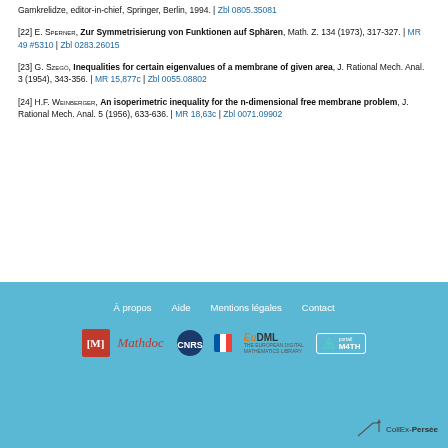[22] E. Sperner, Zur Symmetrisierung von Funktionen auf Sphären, Math. Z. 134 (1973), 317-327. | MR 49 #5310 | Zbl 0283.26015
[23] G. Szegö, Inequalities for certain eigenvalues of a membrane of given area, J. Rational Mech. Anal. 3 (1954), 343-356. | MR 15,877c | Zbl 0055.08802
[24] H.F. Weinberger, An isoperimetric inequality for the n-dimensional free membrane problem, J. Rational Mech. Anal. 5 (1956), 633-636. | MR 18,63c | Zbl 0071.09902
À propos | Aide | Mentions légales | Contact
[Figure (logo): Footer logos: MathDoc [M], Mathdoc script, CNRS, EuDML European Digital Mathematics Library, Portail M4TH, CollEx-Persée]